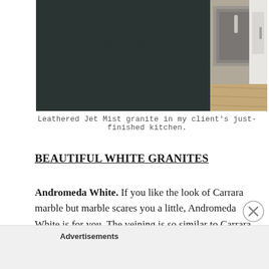[Figure (photo): A dark leathered granite countertop (Jet Mist) in a kitchen, with a stainless steel appliance and white cabinetry visible in the background.]
Leathered Jet Mist granite in my client's just-finished kitchen.
BEAUTIFUL WHITE GRANITES
Andromeda White. If you like the look of Carrara marble but marble scares you a little, Andromeda White is for you. The veining is so similar to Carrara, but the care and maintenance is less daunting.
Advertisements